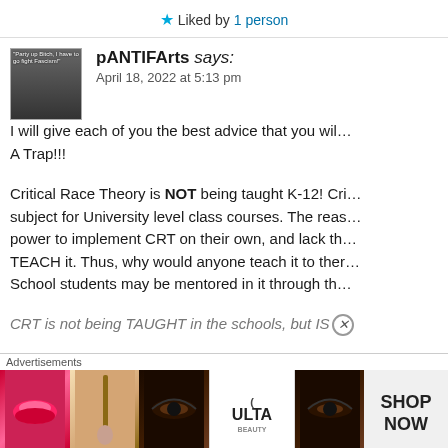★ Liked by 1 person
pANTIFArts says:
April 18, 2022 at 5:13 pm
I will give each of you the best advice that you will ever get … A Trap!!!
Critical Race Theory is NOT being taught K-12! Cri… subject for University level class courses. The reas… power to implement CRT on their own, and lack th… TEACH it. Thus, why would anyone teach it to ther… School students may be mentored in it through th…
CRT is not being TAUGHT in the schools, but IS…
Advertisements